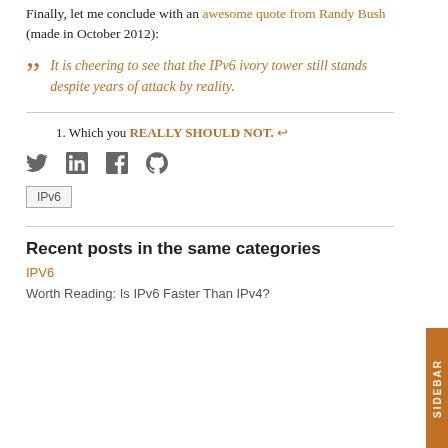Finally, let me conclude with an awesome quote from Randy Bush (made in October 2012):
It is cheering to see that the IPv6 ivory tower still stands despite years of attack by reality.
1. Which you REALLY SHOULD NOT. ↩
[Figure (other): Social sharing icons: Twitter, LinkedIn, Facebook, GitHub]
IPv6
Recent posts in the same categories
IPV6
Worth Reading: Is IPv6 Faster Than IPv4?